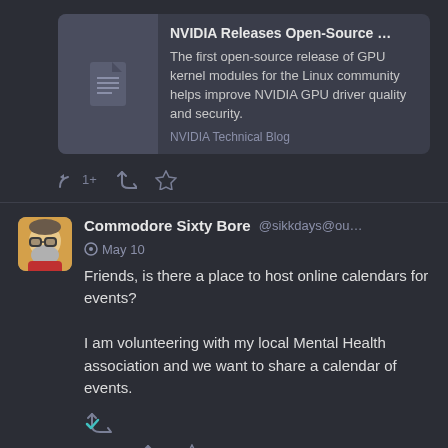[Figure (screenshot): Link card thumbnail with document icon on dark background]
NVIDIA Releases Open-Source …
The first open-source release of GPU kernel modules for the Linux community helps improve NVIDIA GPU driver quality and security.
NVIDIA Technical Blog
[Figure (other): Reply icon with 1+, retweet icon, star/favourite icon action bar]
[Figure (photo): Avatar of Commodore Sixty Bore: illustrated cartoon face with glasses]
Commodore Sixty Bore @sikkdays@ou... May 10
Friends, is there a place to host online calendars for events?

I am volunteering with my local Mental Health association and we want to share a calendar of events.
[Figure (other): Boost/repost icon with blue checkmark]
[Figure (other): Reply icon with 1+, retweet icon, star/favourite icon action bar]